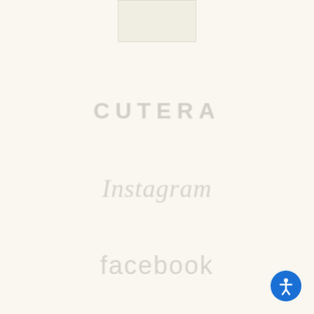[Figure (logo): Cutera logo box at top center, light beige rectangle]
CUTERA
Instagram
facebook